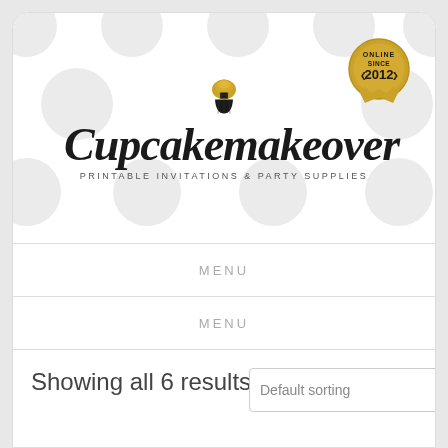[Figure (logo): Cupcakemakeover logo with script text, cupcake icon, subtitle 'PRINTABLE INVITATIONS & PARTY SUPPLIES', and 'ONLINE SINCE 2012' badge]
MENU
MENU
Showing all 6 results
Default sorting